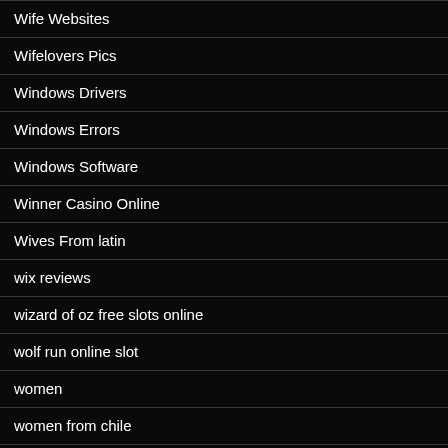Wife Websites
Wifelovers Pics
Windows Drivers
Windows Errors
Windows Software
Winner Casino Online
Wives From latin
wix reviews
wizard of oz free slots online
wolf run online slot
women
women from chile